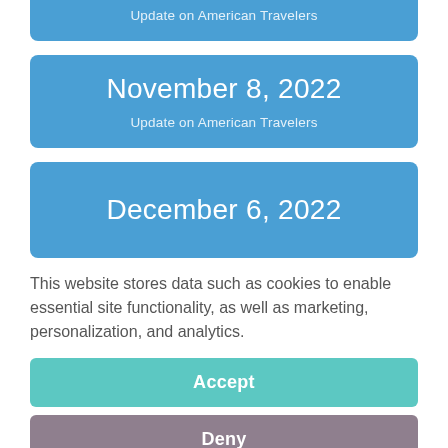Update on American Travelers
November 8, 2022
Update on American Travelers
December 6, 2022
This website stores data such as cookies to enable essential site functionality, as well as marketing, personalization, and analytics.
Accept
Deny